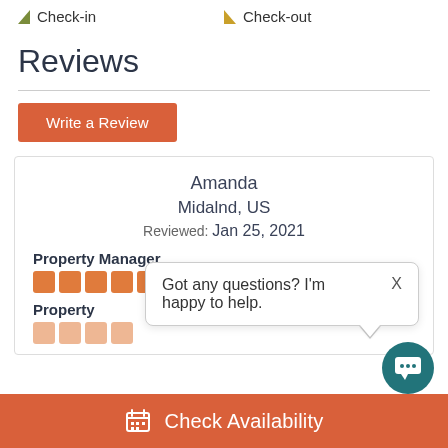Check-in
Check-out
Reviews
Write a Review
Amanda
Midalnd, US
Reviewed: Jan 25, 2021
Property Manager
[Figure (infographic): 5 orange star rating squares for Property Manager]
Property
[Figure (infographic): Chat popup: Got any questions? I'm happy to help. with X close button]
[Figure (infographic): Teal chat icon circle with speech bubble dots]
Check Availability